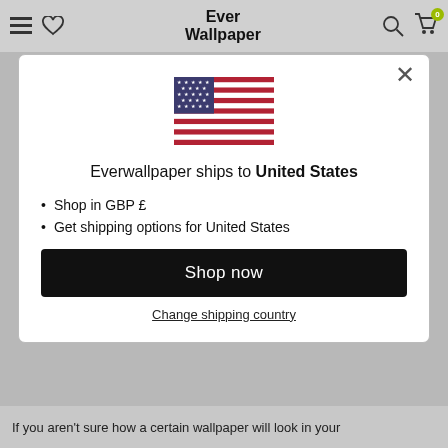Ever Wallpaper
[Figure (illustration): US flag icon centered in modal dialog]
Everwallpaper ships to United States
Shop in GBP £
Get shipping options for United States
Shop now
Change shipping country
If you aren't sure how a certain wallpaper will look in your